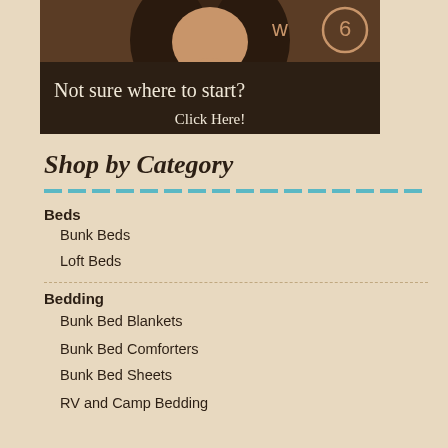[Figure (photo): Banner image of a woman with hand on chin, thinking pose. Dark brown background with text 'Not sure where to start?' and 'Click Here!']
Shop by Category
Beds
Bunk Beds
Loft Beds
Bedding
Bunk Bed Blankets
Bunk Bed Comforters
Bunk Bed Sheets
RV and Camp Bedding